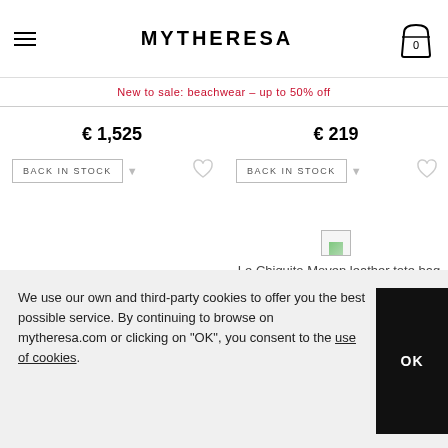MYTHERESA
New to sale: beachwear – up to 50% off
€ 1,525
€ 219
BACK IN STOCK
BACK IN STOCK
[Figure (photo): Small broken image icon placeholder for Le Chiquito Moyen leather tote bag by Jacquemus]
Le Chiquito Moyen leather tote bag | Jacquemus
We use our own and third-party cookies to offer you the best possible service. By continuing to browse on mytheresa.com or clicking on "OK", you consent to the use of cookies.